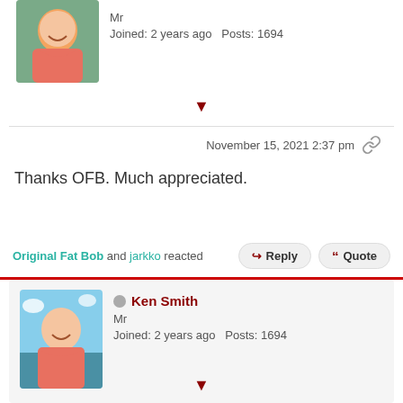[Figure (photo): Avatar photo of a person in a pink shirt, cropped at top]
Mr
Joined: 2 years ago   Posts: 1694
November 15, 2021 2:37 pm
Thanks OFB. Much appreciated.
Original Fat Bob and jarkko reacted
Reply   Quote
[Figure (photo): Avatar photo of Ken Smith in a pink shirt outdoors]
Ken Smith
Mr
Joined: 2 years ago   Posts: 1694